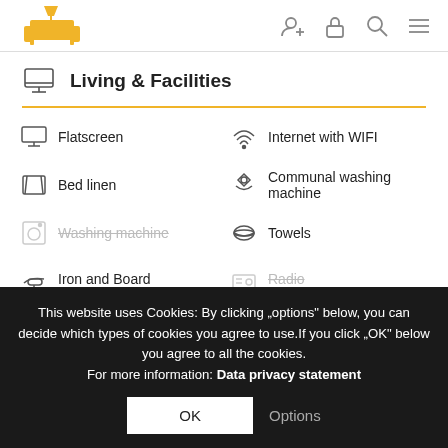Navigation header with logo and icons
Living & Facilities
Flatscreen
Internet with WIFI
Bed linen
Communal washing machine
Washing machine (unavailable)
Towels
Iron and Board
Radio (unavailable)
Laundry dryer
Air condition (unavailable)
This website uses Cookies: By clicking „options" below, you can decide which types of cookies you agree to use.If you click „OK" below you agree to all the cookies. For more information: Data privacy statement